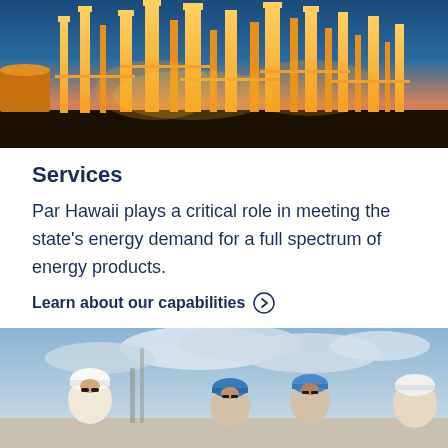[Figure (photo): Industrial oil refinery at night with illuminated structures against a blue sky with warm orange and yellow lights]
Services
Par Hawaii plays a critical role in meeting the state's energy demand for a full spectrum of energy products.
Learn about our capabilities ⊙
[Figure (photo): Workers wearing hard hats (white and blue) and sunglasses at an industrial site with cloudy sky in background]